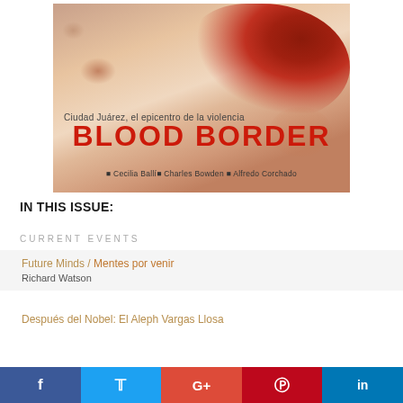[Figure (illustration): Book cover of 'Blood Border' with subtitle 'Ciudad Juárez, el epicentro de la violencia' and authors Cecilia Ballí, Charles Bowden, Alfredo Corchado. Background shows reddish bloodstain splatter on beige texture.]
IN THIS ISSUE:
CURRENT EVENTS
Future Minds / Mentes por venir
Richard Watson
Después del Nobel: El Aleph Vargas Llosa
[Figure (infographic): Social sharing bar with Facebook, Twitter, Google+, Pinterest, and LinkedIn buttons]